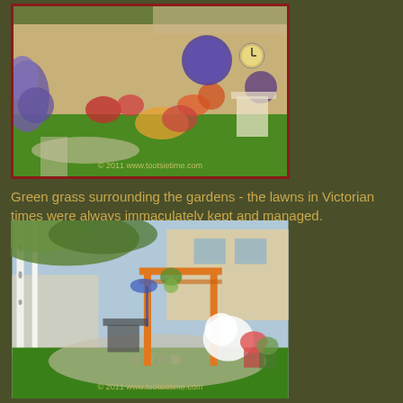[Figure (photo): Colorful garden with purple, red, orange flowers along a fence, green lawn path, clock visible, watermark '© 2011 www.tootsietime.com']
Green grass surrounding the gardens - the lawns in Victorian times were always immaculately kept and managed.
[Figure (photo): Backyard garden with green lawn, orange pergola/arbor, white flowering plants, potted flowers, birch trees, patio furniture, watermark '© 2011 www.tootsietime.com']